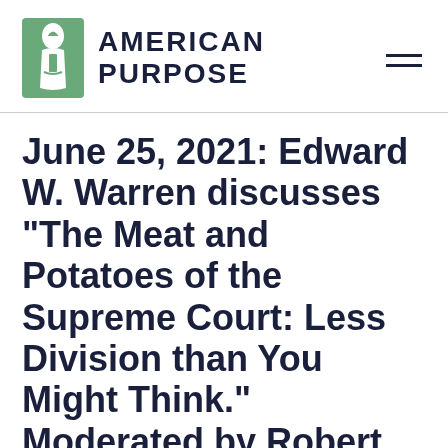[Figure (logo): American Purpose logo with green arch/figure icon on left and 'AMERICAN PURPOSE' text in dark navy, plus hamburger menu icon on right]
June 25, 2021: Edward W. Warren discusses "The Meat and Potatoes of the Supreme Court: Less Division than You Might Think." Moderated by Robert Asahina and co-sponsored by Brayer